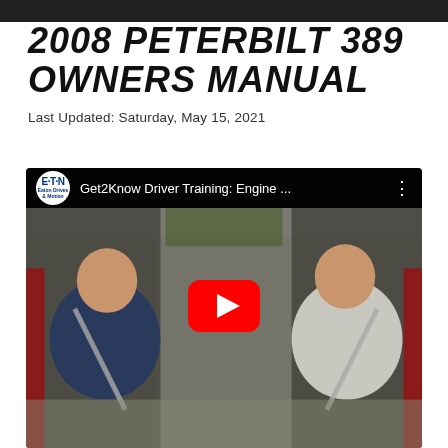2008 PETERBILT 389 OWNERS MANUAL
Last Updated: Saturday, May 15, 2021
[Figure (screenshot): YouTube video thumbnail showing two men seated in a truck cab with seatbelts. The video is titled 'Get2Know Driver Training: Engine ...' from the Eaton channel. A red YouTube play button is overlaid in the center.]